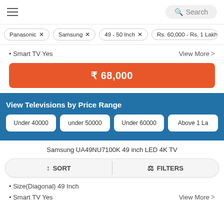☰   Search
Panasonic ×
Samsung ×
49 - 50 Inch ×
Rs. 60,000 - Rs. 1 Lakh
• Smart TV Yes
View More >
₹ 68,000
View Televisions by Price Range
Under 40000
under 50000
Under 60000
Above 1 La
Samsung UA49NU7100K 49 inch LED 4K TV
↕ SORT   ⚙ FILTERS
• Size(Diagonal) 49 Inch
• Smart TV Yes
View More >